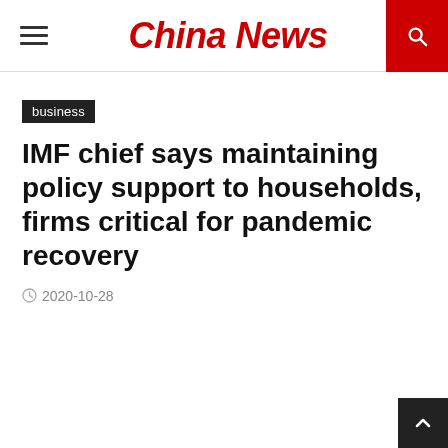China News
business
IMF chief says maintaining policy support to households, firms critical for pandemic recovery
2020-10-28